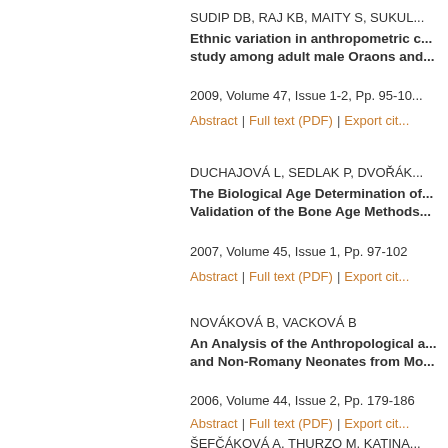SUDIP DB, RAJ KB, MAITY S, SUKUL...
Ethnic variation in anthropometric c... study among adult male Oraons and...
2009, Volume 47, Issue 1-2, Pp. 95-10...
Abstract | Full text (PDF) | Export cit...
DUCHAJOVÁ L, SEDLAK P, DVOŘÁK...
The Biological Age Determination of... Validation of the Bone Age Methods...
2007, Volume 45, Issue 1, Pp. 97-102
Abstract | Full text (PDF) | Export cit...
NOVÁKOVÁ B, VACKOVÁ B
An Analysis of the Anthropological a... and Non-Romany Neonates from Mo...
2006, Volume 44, Issue 2, Pp. 179-186
Abstract | Full text (PDF) | Export cit...
ŠEFČÁKOVÁ A, THURZO M, KATINA...